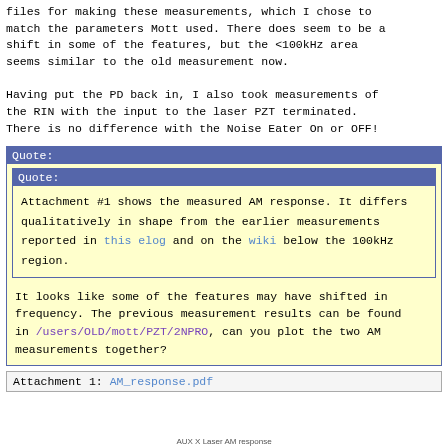files for making these measurements, which I chose to match the parameters Mott used. There does seem to be a shift in some of the features, but the <100kHz area seems similar to the old measurement now.
Having put the PD back in, I also took measurements of the RIN with the input to the laser PZT terminated. There is no difference with the Noise Eater On or OFF!
Quote: [outer block]
Quote: [inner block] Attachment #1 shows the measured AM response. It differs qualitatively in shape from the earlier measurements reported in this elog and on the wiki below the 100kHz region.
It looks like some of the features may have shifted in frequency. The previous measurement results can be found in /users/OLD/mott/PZT/2NPRO, can you plot the two AM measurements together?
Attachment 1: AM_response.pdf
AUX X Laser AM response